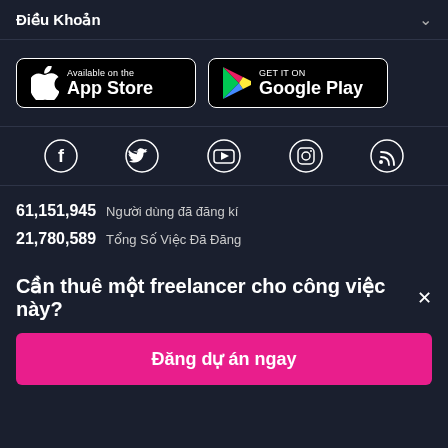Điều Khoản
[Figure (logo): App Store badge - Available on the App Store]
[Figure (logo): Google Play badge - GET IT ON Google Play]
[Figure (infographic): Social media icons row: Facebook, Twitter, YouTube, Instagram, RSS]
61,151,945  Người dùng đã đăng kí
21,780,589  Tổng Số Việc Đã Đăng
Cần thuê một freelancer cho công việc này? ×
Đăng dự án ngay